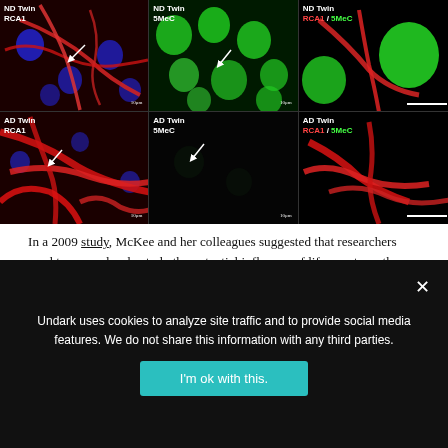[Figure (photo): 2x3 grid of fluorescence microscopy images showing ND Twin and AD Twin brain tissue stained with RCA1 (red) and 5MeC (green) markers. Top row: ND Twin RCA1 (red/blue), ND Twin 5MeC (green), ND Twin RCA1/5MeC merged. Bottom row: AD Twin RCA1 (red/blue), AD Twin 5MeC (near-black), AD Twin RCA1/5MeC merged (red only).]
In a 2009 study, McKee and her colleagues suggested that researchers need to more closely study the potential influence of life events on the development of Alzheimer's.
Undark uses cookies to analyze site traffic and to provide social media features. We do not share this information with any third parties.